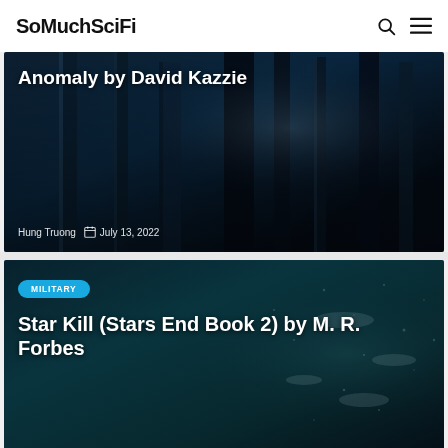SoMuchSciFi
[Figure (photo): Dark atmospheric forest scene with tall shadowy trees and faint light in the background — book cover style image for 'Anomaly by David Kazzie']
Anomaly by David Kazzie
Hung Truong  July 13, 2022
[Figure (photo): Dark teal underwater or space-like scene with scattered light particles — book cover style image for 'Star Kill (Stars End Book 2) by M. R. Forbes']
Star Kill (Stars End Book 2) by M. R. Forbes